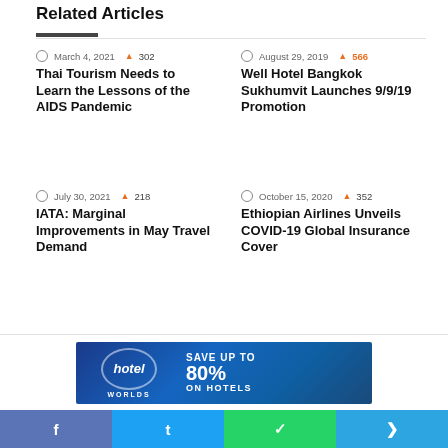Related Articles
March 4, 2021 · 302 · Thai Tourism Needs to Learn the Lessons of the AIDS Pandemic
August 29, 2019 · 566 · Well Hotel Bangkok Sukhumvit Launches 9/9/19 Promotion
July 30, 2021 · 218 · IATA: Marginal Improvements in May Travel Demand
October 15, 2020 · 352 · Ethiopian Airlines Unveils COVID-19 Global Insurance Cover
[Figure (other): Hotel Worlds advertisement banner — Save up to 80% on hotels]
f  t  WhatsApp  Telegram (social share buttons)